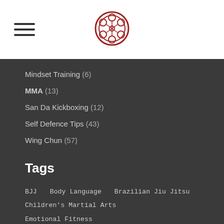[Figure (logo): Circular red ornamental logo with flower/spoke pattern]
Mindset Training (6)
MMA (13)
San Da Kickboxing (12)
Self Defence Tips (43)
Wing Chun (57)
Tags
BJJ   Body Language   Brazilian Jiu Jitsu   Children's Martial Arts   Emotional Fitness   Fitness Training London   How to Block Punch   How to Punch   How to Punch Harder   How to Train Martial Arts   How to Train Wing Chun   Latest News & Events   London Wing Chun Academy   Lovato Jr   Martial Arts   Martial Arts London